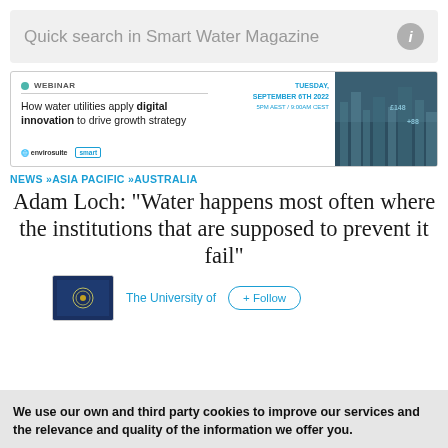Quick search in Smart Water Magazine
[Figure (screenshot): Webinar advertisement banner: 'How water utilities apply digital innovation to drive growth strategy', Tuesday September 6th 2022, 5PM AEST / 9:00AM CEST, logos: envirosuite and smart water magazine, with aerial city photo on right]
NEWS »ASIA PACIFIC »AUSTRALIA
Adam Loch: “Water happens most often where the institutions that are supposed to prevent it fail”
The University of
+ Follow
We use our own and third party cookies to improve our services and the relevance and quality of the information we offer you.